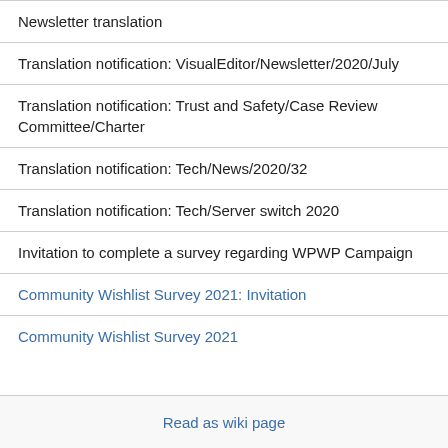Newsletter translation
Translation notification: VisualEditor/Newsletter/2020/July
Translation notification: Trust and Safety/Case Review Committee/Charter
Translation notification: Tech/News/2020/32
Translation notification: Tech/Server switch 2020
Invitation to complete a survey regarding WPWP Campaign
Community Wishlist Survey 2021: Invitation
Community Wishlist Survey 2021
Read as wiki page